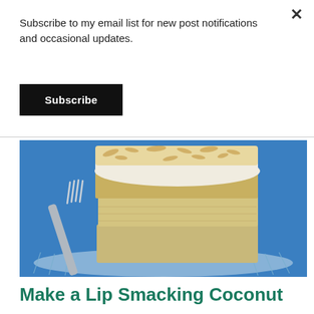Subscribe to my email list for new post notifications and occasional updates.
Subscribe
[Figure (photo): A slice of coconut cake with white frosting topped with toasted coconut flakes, served on a glass plate with a fork, against a blue background.]
Make a Lip Smacking Coconut